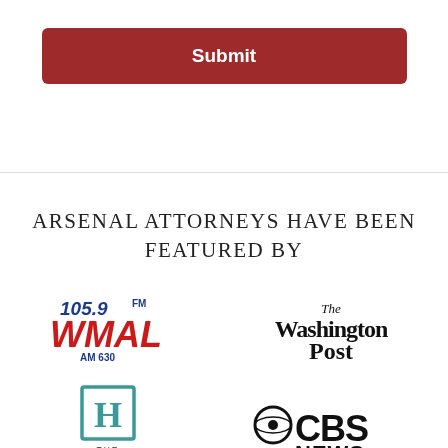Submit
ARSENAL ATTORNEYS HAVE BEEN FEATURED BY
[Figure (logo): 105.9 FM WMAL AM 630 radio station logo]
[Figure (logo): The Washington Post newspaper logo in blackletter font]
[Figure (logo): The Hill newspaper logo with H in teal box]
[Figure (logo): CBS News logo]